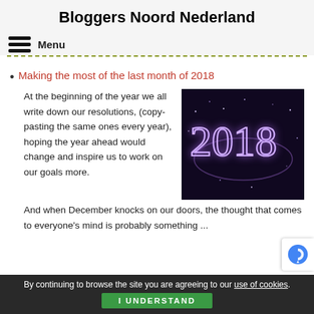Bloggers Noord Nederland
Menu
Making the most of the last month of 2018
[Figure (photo): Sparkler writing '2018' in light on dark background]
At the beginning of the year we all write down our resolutions, (copy-pasting the same ones every year), hoping the year ahead would change and inspire us to work on our goals more.
And when December knocks on our doors, the thought that comes to everyone's mind is probably something ...
By continuing to browse the site you are agreeing to our use of cookies. I UNDERSTAND